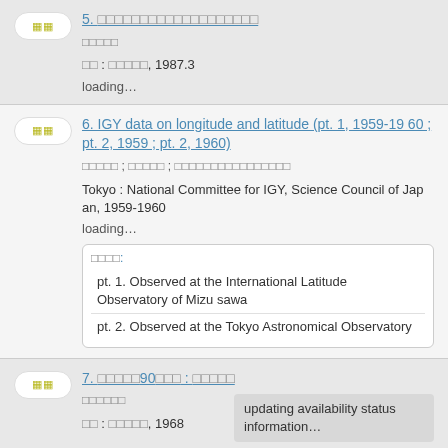5. [Japanese title]
[Japanese text]
[Japanese publisher] : [Japanese], 1987.3
loading...
6. IGY data on longitude and latitude (pt. 1, 1959-1960 ; pt. 2, 1959 ; pt. 2, 1960)
[Japanese] ; [Japanese] ; [Japanese extended]
Tokyo : National Committee for IGY, Science Council of Japan, 1959-1960
loading...
[Japanese label]: pt. 1. Observed at the International Latitude Observatory of Mizusawa | pt. 2. Observed at the Tokyo Astronomical Observatory
7. [Japanese title 90] : [Japanese subtitle]
[Japanese]
updating availability status information...
[Japanese publisher] : [Japanese], 1968